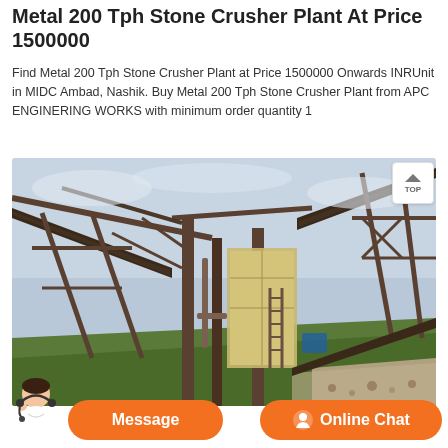Metal 200 Tph Stone Crusher Plant At Price 1500000
Find Metal 200 Tph Stone Crusher Plant at Price 1500000 Onwards INRUnit in MIDC Ambad, Nashik. Buy Metal 200 Tph Stone Crusher Plant from APC ENGINERING WORKS with minimum order quantity 1
[Figure (photo): Photograph of a metal 200 Tph Stone Crusher Plant industrial machinery setup outdoors with conveyor belts, steel frame structure and gravel on the ground]
Message
Online Chat